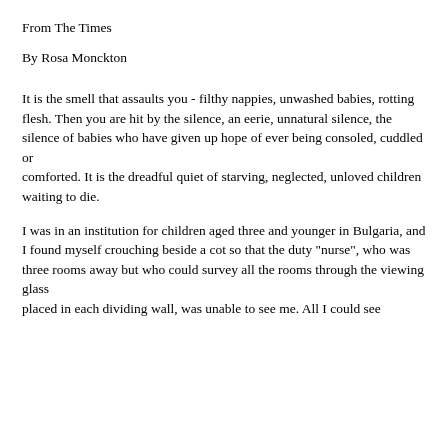From The Times
By Rosa Monckton
It is the smell that assaults you - filthy nappies, unwashed babies, rotting flesh. Then you are hit by the silence, an eerie, unnatural silence, the silence of babies who have given up hope of ever being consoled, cuddled or comforted. It is the dreadful quiet of starving, neglected, unloved children waiting to die.
I was in an institution for children aged three and younger in Bulgaria, and I found myself crouching beside a cot so that the duty "nurse", who was three rooms away but who could survey all the rooms through the viewing glass placed in each dividing wall, was unable to see me. All I could see